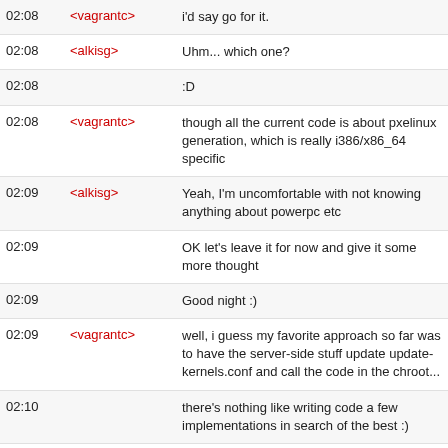| Time | Nick | Message |
| --- | --- | --- |
| 02:08 | <vagrantc> | i'd say go for it. |
| 02:08 | <alkisg> | Uhm... which one? |
| 02:08 |  | :D |
| 02:08 | <vagrantc> | though all the current code is about pxelinux generation, which is really i386/x86_64 specific |
| 02:09 | <alkisg> | Yeah, I'm uncomfortable with not knowing anything about powerpc etc |
| 02:09 |  | OK let's leave it for now and give it some more thought |
| 02:09 |  | Good night :) |
| 02:09 | <vagrantc> | well, i guess my favorite approach so far was to have the server-side stuff update update-kernels.conf and call the code in the chroot... |
| 02:10 |  | there's nothing like writing code a few implementations in search of the best :) |